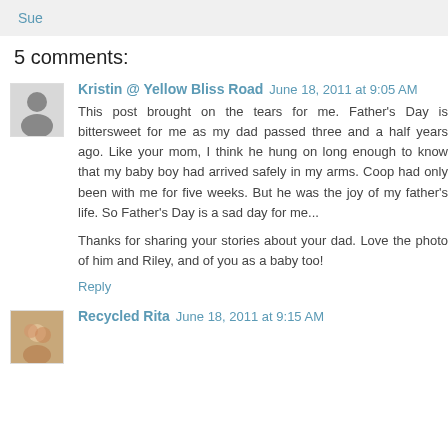Sue
5 comments:
Kristin @ Yellow Bliss Road June 18, 2011 at 9:05 AM
This post brought on the tears for me. Father's Day is bittersweet for me as my dad passed three and a half years ago. Like your mom, I think he hung on long enough to know that my baby boy had arrived safely in my arms. Coop had only been with me for five weeks. But he was the joy of my father's life. So Father's Day is a sad day for me...

Thanks for sharing your stories about your dad. Love the photo of him and Riley, and of you as a baby too!
Reply
Recycled Rita June 18, 2011 at 9:15 AM